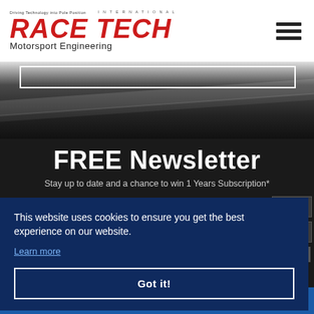RACE TECH International Motorsport Engineering
[Figure (screenshot): Dark racetrack background image with diagonal road stripes and a white rectangle outline]
FREE Newsletter
Stay up to date and a chance to win 1 Years Subscription*
This website uses cookies to ensure you get the best experience on our website.
Learn more
Got it!
SUBSCRIBE